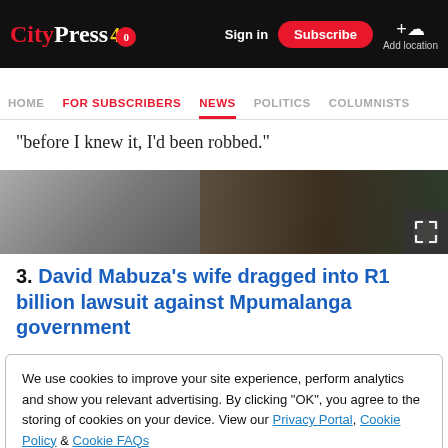City Press 40 | Sign in | Subscribe | Add location
HOME | FOR SUBSCRIBERS | NEWS | POLITICS | COLUMNISTS
“before I knew it, I’d been robbed.”
[Figure (photo): Partial photo image strip, dark tones]
3. David Mabuza’s wife dragged into R1 billion lawsuit against Mpumalanga government
We use cookies to improve your site experience, perform analytics and show you relevant advertising. By clicking "OK", you agree to the storing of cookies on your device. View our Privacy Portal, Cookie Policy & Cookie FAQs